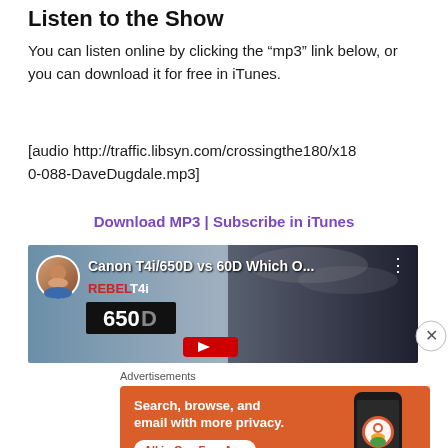Listen to the Show
You can listen online by clicking the “mp3” link below, or you can download it for free in iTunes.
[audio http://traffic.libsyn.com/crossingthe180/x180-088-DaveDugdale.mp3]
Download MP3 | Subscribe in iTunes
[Figure (screenshot): YouTube video thumbnail showing Canon T4i/650D vs 60D comparison video with a man's face, REBEL T4i and 650D text overlays, and a circular avatar of a smiling person]
Advertisements
[Figure (screenshot): DuckDuckGo advertisement banner with orange background: 'Search, browse, and email with more privacy. All in One Free App' with DuckDuckGo logo and phone image on right]